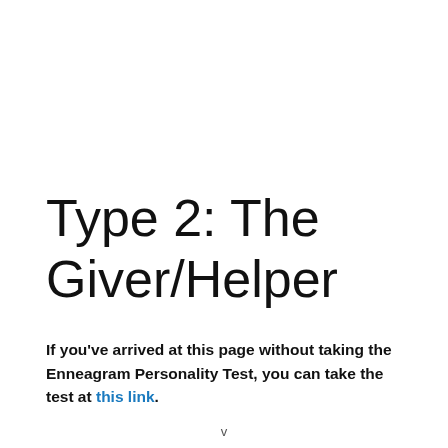Type 2: The Giver/Helper
If you've arrived at this page without taking the Enneagram Personality Test, you can take the test at this link.